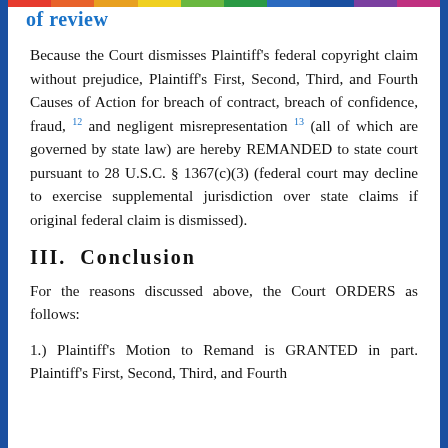of review
Because the Court dismisses Plaintiff's federal copyright claim without prejudice, Plaintiff's First, Second, Third, and Fourth Causes of Action for breach of contract, breach of confidence, fraud, 12 and negligent misrepresentation 13 (all of which are governed by state law) are hereby REMANDED to state court pursuant to 28 U.S.C. § 1367(c)(3) (federal court may decline to exercise supplemental jurisdiction over state claims if original federal claim is dismissed).
III.  Conclusion
For the reasons discussed above, the Court ORDERS as follows:
1.) Plaintiff's Motion to Remand is GRANTED in part. Plaintiff's First, Second, Third, and Fourth